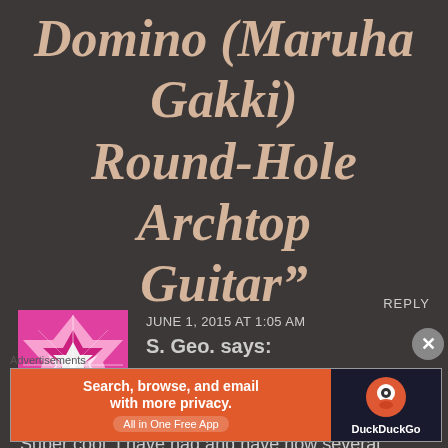Domino (Maruha Gakki) Round-Hole Archtop Guitar”
JUNE 1, 2015 AT 1:05 AM
REPLY
S. Geo. says:
Super cool. I have had and have now several Muruha
[Figure (illustration): Pink and white geometric/quilt pattern avatar icon]
Advertisements
[Figure (screenshot): DuckDuckGo advertisement banner: 'Search, browse, and email with more privacy. All in One Free App' on orange background with DuckDuckGo logo on dark right panel]